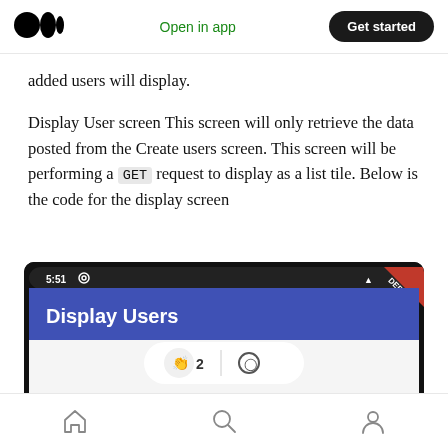Open in app | Get started
added users will display.
Display User screen This screen will only retrieve the data posted from the Create users screen. This screen will be performing a GET request to display as a list tile. Below is the code for the display screen
[Figure (screenshot): Mobile app screenshot showing 'Display Users' screen with a blue header bar, '5:51' time indicator, DEBUG ribbon in top-right corner, and 'mahesh' text visible at the bottom. A floating action button shows a clapping icon with '2' and a chat bubble icon.]
Home | Search | Profile navigation icons